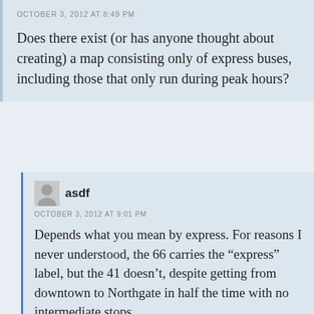OCTOBER 3, 2012 AT 8:49 PM
Does there exist (or has anyone thought about creating) a map consisting only of express buses, including those that only run during peak hours?
asdf
OCTOBER 3, 2012 AT 9:01 PM
Depends what you mean by express. For reasons I never understood, the 66 carries the “express” label, but the 41 doesn’t, despite getting from downtown to Northgate in half the time with no intermediate stops.